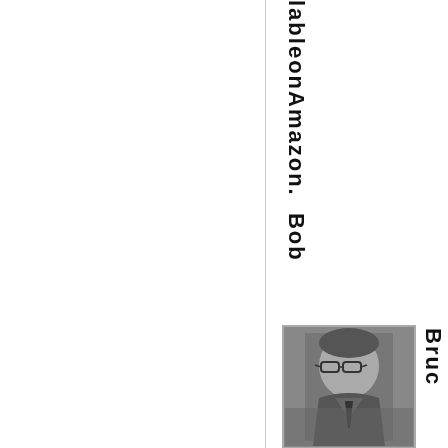lable on Amazon. Bob
[Figure (photo): Black and white portrait photo of a young man wearing glasses and a suit]
Bruce Thomas